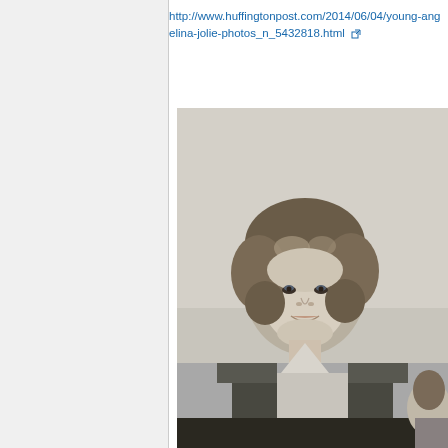http://www.huffingtonpost.com/2014/06/04/young-angelina-jolie-photos_n_5432818.html
[Figure (photo): Black and white photograph of a young woman with curly hair, wearing a sleeveless top, smiling at the camera.]